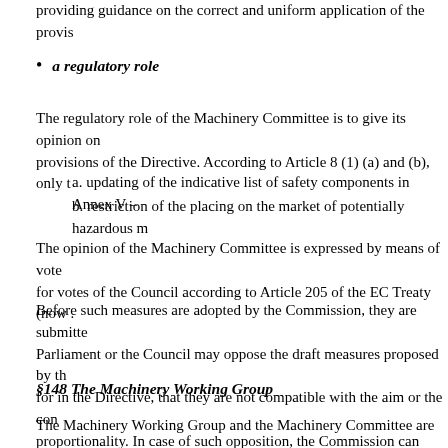providing guidance on the correct and uniform application of the provis
a regulatory role
The regulatory role of the Machinery Committee is to give its opinion on provisions of the Directive. According to Article 8 (1) (a) and (b), only t
a. updating of the indicative list of safety components in Annex V –
b. restriction of the placing on the market of potentially hazardous m
The opinion of the Machinery Committee is expressed by means of vote for votes of the Council according to Article 205 of the EC Treaty (now .
Before such measures are adopted by the Commission, they are submitted Parliament or the Council may oppose the draft measures proposed by th for in the Directive, that they are not compatible with the aim or the con proportionality. In case of such opposition, the Commission can submit a European Parliament and the Council within three months, the Commiss
§148 The Machinery Working Group
The Machinery Working Group and the Machinery Committee are